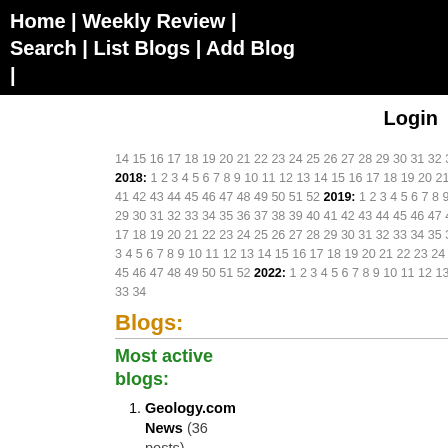Home | Weekly Review | Search | List Blogs | Add Blog |
Login
14 15 16 17 18 19 20 21 22 23 24 25 26 27 28 29 30 31 32 33 34 35 36 37 38 39 40 41 42 43 44 45 46 47 48 49 50 51 52 2018: 1 2 3 4 5 6 7 8 9 10 11 12 13 14 15 16 17 18 19 20 21 22 23 24 25 26 27 28 29 30 31 32 33 34 35 36 37 38 39 40 41 42 43 44 45 46 47 48 49 50 51 52 2019: 1 2 3 4 5 6 7 8 9 10 11 12 13 14 15 16 17 18 19 20 21 22 23 24 25 26 27 28 29 30 31 32 33 34 35 36 37 38 39 40 41 42 43 44 45 46 47 48 49 50 51 52 2020: 1 2 3 4 5 6 7 8 9 10 11 12 13 14 15 16 17 18 19 20 21 22 23 24 25 26 27 28 29 30 31 32 33 34 35 36 37 38 39 40 41 42 43 44 45 46 47 48 49 50 51 52 2021: 1 2 3 4 5 6 7 8 9 10 11 12 13 14 15 16 17 18 19 20 21 22 23 24 25 26 27 28 29 30 31 32 33 34 35 36 37 38 39 40 41 42 43 44 45 46 47 48 49 50 51 52 2022: 1 2 3 4 5 6 7 8 9 10 11 12 13 14 15 16 17 18 19 20 21 22 23 24 25 26 27 28 29 30 31 32 33 34
Blogs:
Most active blogs:
Geology.com News (36 posts)
kreidefossilien.de (21 posts)
Geology News (16 posts)